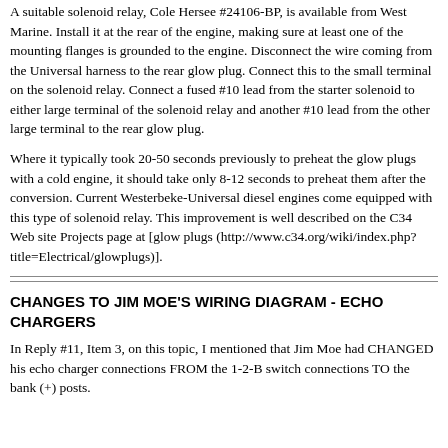A suitable solenoid relay, Cole Hersee #24106-BP, is available from West Marine. Install it at the rear of the engine, making sure at least one of the mounting flanges is grounded to the engine. Disconnect the wire coming from the Universal harness to the rear glow plug. Connect this to the small terminal on the solenoid relay. Connect a fused #10 lead from the starter solenoid to either large terminal of the solenoid relay and another #10 lead from the other large terminal to the rear glow plug.
Where it typically took 20-50 seconds previously to preheat the glow plugs with a cold engine, it should take only 8-12 seconds to preheat them after the conversion. Current Westerbeke-Universal diesel engines come equipped with this type of solenoid relay. This improvement is well described on the C34 Web site Projects page at [glow plugs (http://www.c34.org/wiki/index.php?title=Electrical/glowplugs)].
CHANGES TO JIM MOE'S WIRING DIAGRAM - ECHO CHARGERS
In Reply #11, Item 3, on this topic, I mentioned that Jim Moe had CHANGED his echo charger connections FROM the 1-2-B switch connections TO the bank (+) posts.